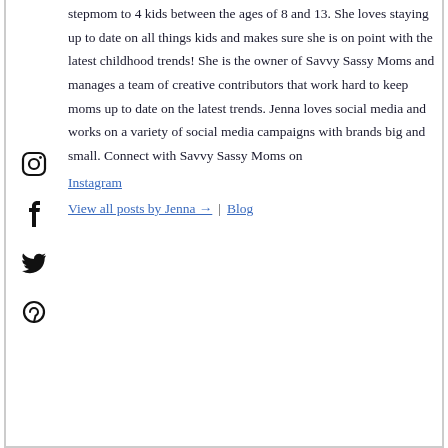[Figure (illustration): Social media icons: Instagram, Facebook, Twitter, Pinterest arranged vertically on the left sidebar]
stepmom to 4 kids between the ages of 8 and 13. She loves staying up to date on all things kids and makes sure she is on point with the latest childhood trends! She is the owner of Savvy Sassy Moms and manages a team of creative contributors that work hard to keep moms up to date on the latest trends. Jenna loves social media and works on a variety of social media campaigns with brands big and small. Connect with Savvy Sassy Moms on
Instagram
View all posts by Jenna → | Blog